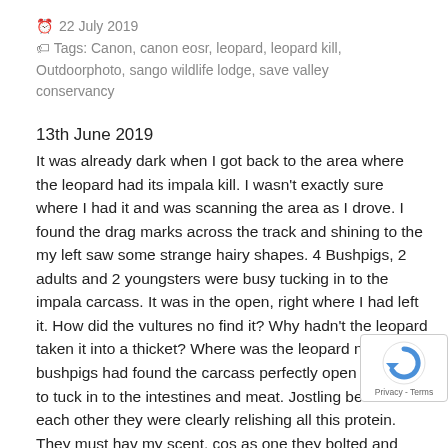22 July 2019
Tags: Canon, canon eosr, leopard, leopard kill, Outdoorphoto, sango wildlife lodge, save valley conservancy
13th June 2019
It was already dark when I got back to the area where the leopard had its impala kill. I wasn't exactly sure where I had it and was scanning the area as I drove. I found the drag marks across the track and shining to the my left saw some strange hairy shapes. 4 Bushpigs, 2 adults and 2 youngsters were busy tucking in to the impala carcass. It was in the open, right where I had left it. How did the vultures no find it? Why hadn't the leopard taken it into a thicket? Where was the leopard now? The bushpigs had found the carcass perfectly open for them to tuck in to the intestines and meat. Jostling between each other they were clearly relishing all this protein. They must have my scent, cos as one they bolted and never returned. I got